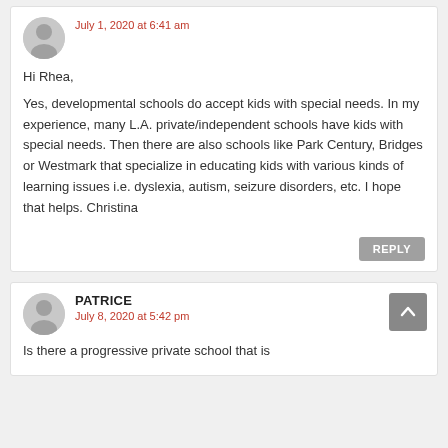July 1, 2020 at 6:41 am
Hi Rhea,

Yes, developmental schools do accept kids with special needs. In my experience, many L.A. private/independent schools have kids with special needs. Then there are also schools like Park Century, Bridges or Westmark that specialize in educating kids with various kinds of learning issues i.e. dyslexia, autism, seizure disorders, etc. I hope that helps. Christina
REPLY
PATRICE
July 8, 2020 at 5:42 pm
Is there a progressive private school that is